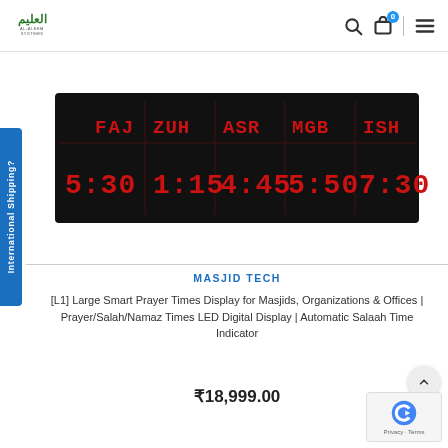Al-Aleem Systems — navigation bar with logo, search, cart (0), and menu icons
[Figure (photo): LED prayer times display board showing FAJ, ZUH, ASR, MGB, ISH times as 5:30, 1:15, 4:45, 5:50, 7:30 in red dot-matrix style on a dark background]
International Shipping? (vertical side tab)
MASJID TECH
[L1] Large Smart Prayer Times Display for Masjids, Organizations & Offices | Prayer/Salah/Namaz Times LED Digital Display | Automatic Salaah Time Indicator
₹18,999.00